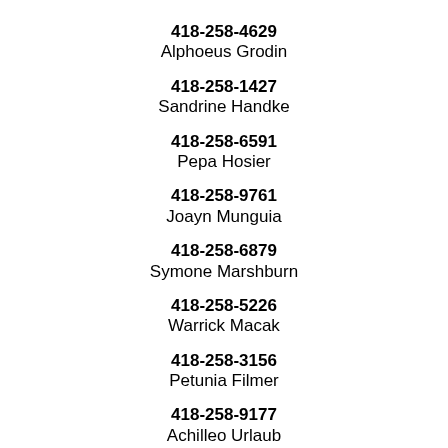418-258-4629
Alphoeus Grodin
418-258-1427
Sandrine Handke
418-258-6591
Pepa Hosier
418-258-9761
Joayn Munguia
418-258-6879
Symone Marshburn
418-258-5226
Warrick Macak
418-258-3156
Petunia Filmer
418-258-9177
Achilleo Urlaub
418-258-5484